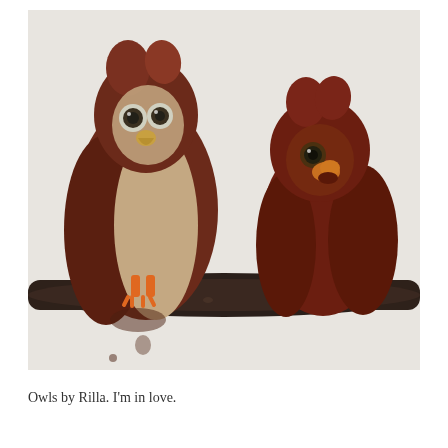[Figure (illustration): A child's painting of two owls perched on a dark branch against a light gray/white background. The left owl is taller with a lighter beige/cream belly, dark brown wings, two large dark eyes, a yellow beak, and orange feet. The right owl is smaller and more rounded, entirely dark reddish-brown with a dark eye and orange beak area. The branch is dark brown/black running horizontally across the lower portion of the image.]
Owls by Rilla. I'm in love.